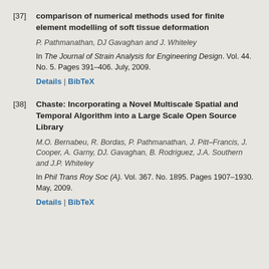[37] comparison of numerical methods used for finite element modelling of soft tissue deformation. P. Pathmanathan, DJ Gavaghan and J. Whiteley. In The Journal of Strain Analysis for Engineering Design. Vol. 44. No. 5. Pages 391–406. July, 2009. Details | BibTeX
[38] Chaste: Incorporating a Novel Multiscale Spatial and Temporal Algorithm into a Large Scale Open Source Library. M.O. Bernabeu, R. Bordas, P. Pathmanathan, J. Pitt–Francis, J. Cooper, A. Garny, DJ. Gavaghan, B. Rodriguez, J.A. Southern and J.P. Whiteley. In Phil Trans Roy Soc (A). Vol. 367. No. 1895. Pages 1907–1930. May, 2009. Details | BibTeX